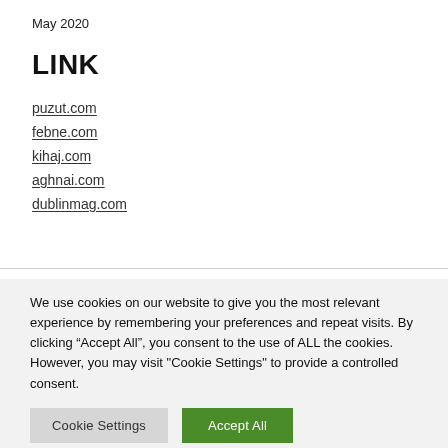May 2020
LINK
puzut.com
febne.com
kihaj.com
aghnai.com
dublinmag.com
We use cookies on our website to give you the most relevant experience by remembering your preferences and repeat visits. By clicking “Accept All”, you consent to the use of ALL the cookies. However, you may visit "Cookie Settings" to provide a controlled consent.
Cookie Settings | Accept All